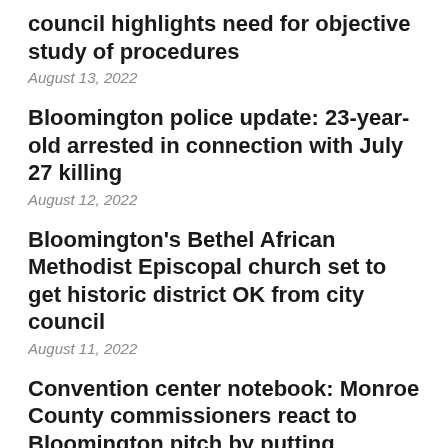council highlights need for objective study of procedures
August 13, 2022
Bloomington police update: 23-year-old arrested in connection with July 27 killing
August 12, 2022
Bloomington's Bethel African Methodist Episcopal church set to get historic district OK from city council
August 11, 2022
Convention center notebook: Monroe County commissioners react to Bloomington pitch by putting appraisal of property on agenda
August 10, 2022
2023 budget notebook: Monroe County council recommends 5% pay raise for planning